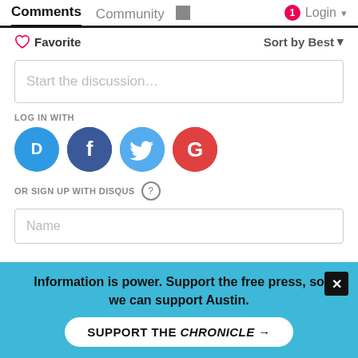Comments  Community  Login
♡ Favorite    Sort by Best
Start the discussion…
LOG IN WITH
[Figure (other): Social login icons: Disqus (blue circle with D), Facebook (dark blue circle with f), Twitter (light blue circle with bird), Google (red circle with G)]
OR SIGN UP WITH DISQUS ?
Name
Be the first to comment.
Information is power. Support the free press, so we can support Austin.
SUPPORT THE CHRONICLE →